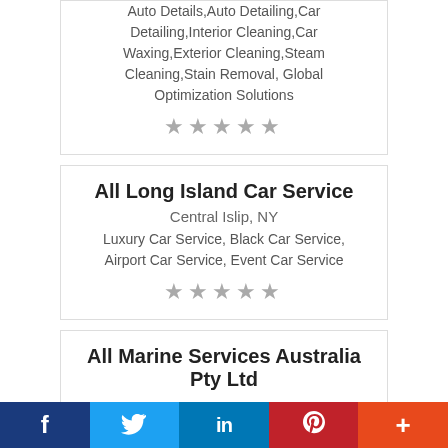Auto Details,Auto Detailing,Car Detailing,Interior Cleaning,Car Waxing,Exterior Cleaning,Steam Cleaning,Stain Removal, Global Optimization Solutions
[Figure (other): Five gray star rating icons]
All Long Island Car Service
Central Islip, NY
Luxury Car Service, Black Car Service, Airport Car Service, Event Car Service
[Figure (other): Five gray star rating icons]
All Marine Services Australia Pty Ltd
Keep your boat equipped with the necessary and the latest Marine Accessories in Perth from All Marine Services.
[Figure (other): Five gray star rating icons]
f  Twitter  in  P  +